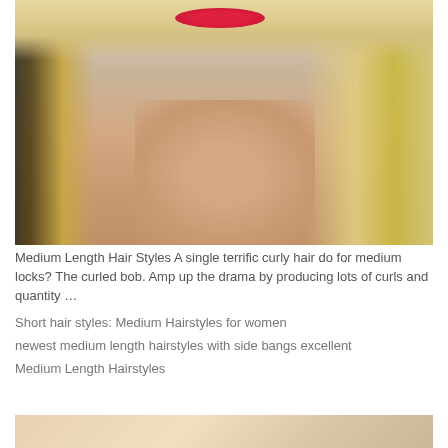[Figure (photo): Close-up portrait of a blonde woman with a bob haircut and red lipstick, against a gray background, showing face, neck, and bare shoulders]
Medium Length Hair Styles A single terrific curly hair do for medium locks? The curled bob. Amp up the drama by producing lots of curls and quantity …
Short hair styles: Medium Hairstyles for women
newest medium length hairstyles with side bangs excellent
Medium Length Hairstyles
[Figure (photo): Partial view of a second photo showing a person, cropped at bottom of page]